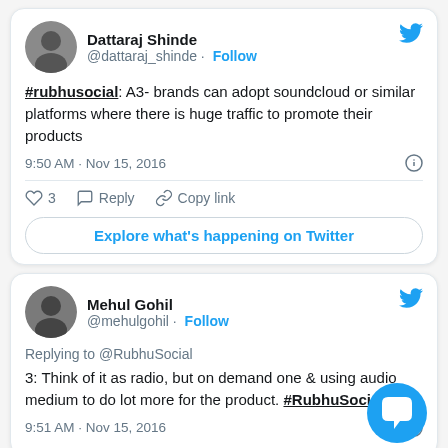[Figure (screenshot): Tweet by Dattaraj Shinde (@dattaraj_shinde) with text: #rubhusocial: A3- brands can adopt soundcloud or similar platforms where there is huge traffic to promote their products. Posted 9:50 AM · Nov 15, 2016. Has 3 likes, Reply, Copy link, and Explore what's happening on Twitter button.]
[Figure (screenshot): Tweet by Mehul Gohil (@mehulgohil) replying to @RubhuSocial: 3: Think of it as radio, but on demand one & using audio medium to do lot more for the product. #RubhuSocial. Posted 9:51 AM · Nov 15, 2016.]